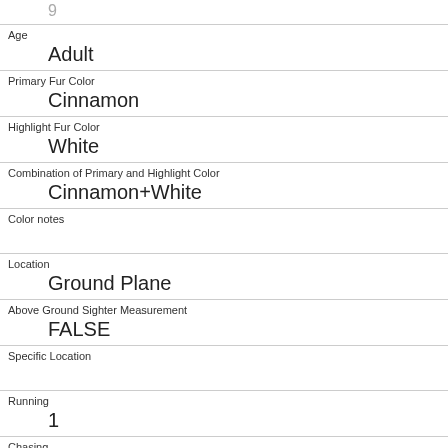9
| Age | Adult |
| Primary Fur Color | Cinnamon |
| Highlight Fur Color | White |
| Combination of Primary and Highlight Color | Cinnamon+White |
| Color notes |  |
| Location | Ground Plane |
| Above Ground Sighter Measurement | FALSE |
| Specific Location |  |
| Running | 1 |
| Chasing | 0 |